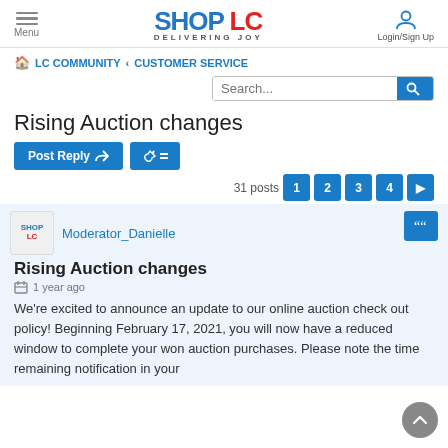Menu | SHOP LC DELIVERING JOY | Login/Sign Up
🏠 LC COMMUNITY ‹ CUSTOMER SERVICE
Search...
Rising Auction changes
Post Reply | tools | 31 posts  1 2 3 4 ▶
Moderator_Danielle
Rising Auction changes
1 year ago
We're excited to announce an update to our online auction check out policy! Beginning February 17, 2021, you will now have a reduced window to complete your won auction purchases. Please note the time remaining notification in your